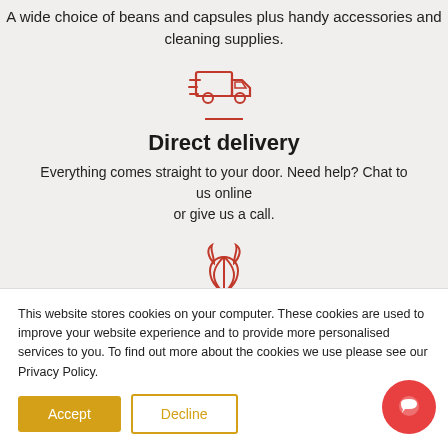A wide choice of beans and capsules plus handy accessories and cleaning supplies.
[Figure (illustration): Red outline icon of a delivery truck with a speed/forward motion indicator]
Direct delivery
Everything comes straight to your door. Need help? Chat to us online or give us a call.
[Figure (illustration): Red outline icon of stylized coffee plant or flame leaves]
Good & green (partially visible)
This website stores cookies on your computer. These cookies are used to improve your website experience and to provide more personalised services to you. To find out more about the cookies we use please see our Privacy Policy.